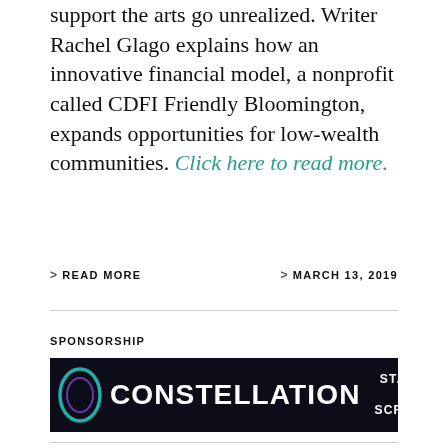support the arts go unrealized. Writer Rachel Glago explains how an innovative financial model, a nonprofit called CDFI Friendly Bloomington, expands opportunities for low-wealth communities. Click here to read more.
> READ MORE
> MARCH 13, 2019
SPONSORSHIP
[Figure (illustration): Constellation Stage + Screen advertisement banner with dark navy background, circular arc logo on left and right, large white bold text reading CONSTELLATION, sub-text STAGE + SCREEN with teal plus sign, and right-side text reading INAUGURAL THEATRICAL SEASON, Division ticket packages on sale now!]
[Figure (photo): Dark photo of a performer on stage with dramatic blue lighting, partially visible at bottom of page]